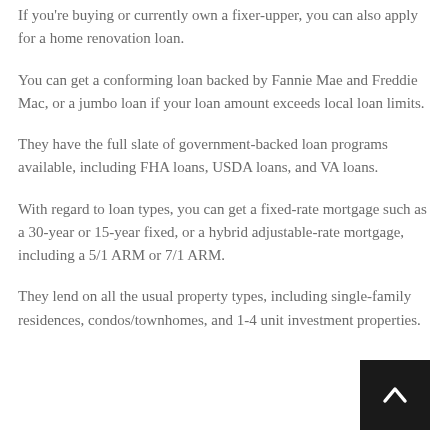If you're buying or currently own a fixer-upper, you can also apply for a home renovation loan.
You can get a conforming loan backed by Fannie Mae and Freddie Mac, or a jumbo loan if your loan amount exceeds local loan limits.
They have the full slate of government-backed loan programs available, including FHA loans, USDA loans, and VA loans.
With regard to loan types, you can get a fixed-rate mortgage such as a 30-year or 15-year fixed, or a hybrid adjustable-rate mortgage, including a 5/1 ARM or 7/1 ARM.
They lend on all the usual property types, including single-family residences, condos/townhomes, and 1-4 unit investment properties.
[Figure (other): Back to top button - black square with white upward chevron arrow]